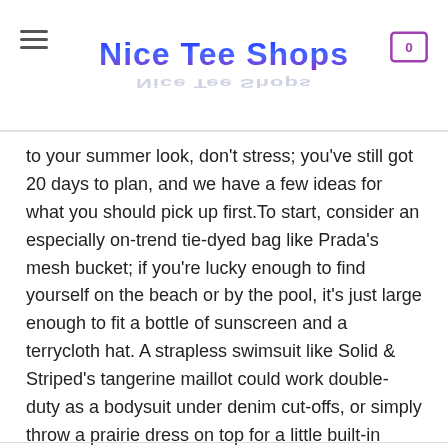Nice Tee Shops
to your summer look, don’t stress; you’ve still got 20 days to plan, and we have a few ideas for what you should pick up first.To start, consider an especially on-trend tie-dyed bag like Prada’s mesh bucket; if you’re lucky enough to find yourself on the beach or by the pool, it’s just large enough to fit a bottle of sunscreen and a terrycloth hat. A strapless swimsuit like Solid & Striped’s tangerine maillot could work double-duty as a bodysuit under denim cut-offs, or simply throw a prairie dress on top for a little built-in SPF. As for new jewelry, don’t miss out on the seashell trend; Brinker & Eliza’s rosy pink necklace is an elevated, grown-up take.
You Can See More Product:
https://niceteeshops.com/product-category/trending/